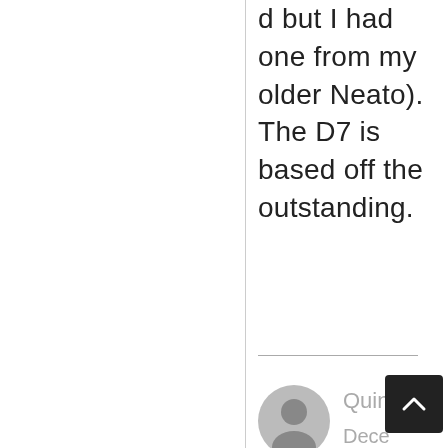d but I had one from my older Neato). The D7 is based off the outstanding.
Quin
Dece